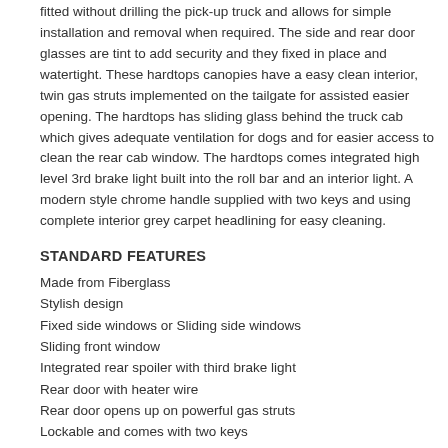fitted without drilling the pick-up truck and allows for simple installation and removal when required. The side and rear door glasses are tint to add security and they fixed in place and watertight. These hardtops canopies have a easy clean interior, twin gas struts implemented on the tailgate for assisted easier opening. The hardtops has sliding glass behind the truck cab which gives adequate ventilation for dogs and for easier access to clean the rear cab window. The hardtops comes integrated high level 3rd brake light built into the roll bar and an interior light. A modern style chrome handle supplied with two keys and using complete interior grey carpet headlining for easy cleaning.
STANDARD FEATURES
Made from Fiberglass
Stylish design
Fixed side windows or Sliding side windows
Sliding front window
Integrated rear spoiler with third brake light
Rear door with heater wire
Rear door opens up on powerful gas struts
Lockable and comes with two keys
Locking system in stainless steel
Complete interior grey carpet headlining
Interior LED lighting
Easy installation
Clamp-on fitment, NO drilling required